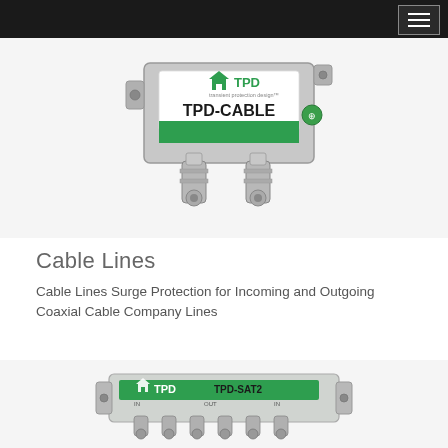TPD transient protection design — navigation menu
[Figure (photo): TPD-CABLE coaxial cable surge protector device with two F-connector ports, green band label reading TPD-CABLE with transient protection design logo]
Cable Lines
Cable Lines Surge Protection for Incoming and Outgoing Coaxial Cable Company Lines
[Figure (photo): TPD-SAT2 satellite surge protector device, a flat rectangular unit with multiple F-connector ports along the bottom and a green label strip reading TPD-SAT2]